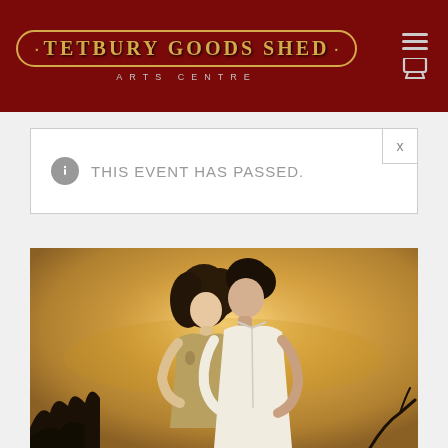TETBURY GOODS SHED · ARTS CENTRE
THIS EVENT HAS PASSED.
[Figure (photo): A couple in a romantic embrace, a woman with curly hair looking up at a man leaning toward her, against a golden hazy outdoor background.]